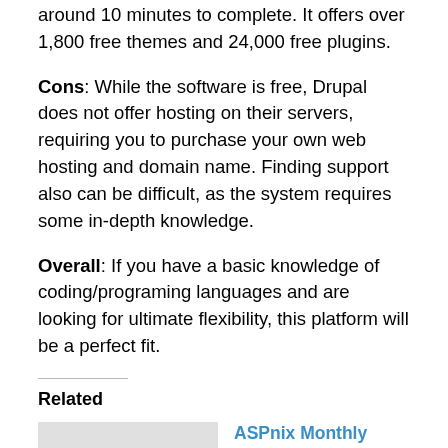around 10 minutes to complete. It offers over 1,800 free themes and 24,000 free plugins.
Cons: While the software is free, Drupal does not offer hosting on their servers, requiring you to purchase your own web hosting and domain name. Finding support also can be difficult, as the system requires some in-depth knowledge.
Overall: If you have a basic knowledge of coding/programing languages and are looking for ultimate flexibility, this platform will be a perfect fit.
Related
[Figure (photo): Gray placeholder thumbnail image for related article]
Should I Choose Linux
ASPnix Monthly Newsletter July 2010
ASPnix Newsletter July 2010 ASPnix New Website: ASPnix has launched its new